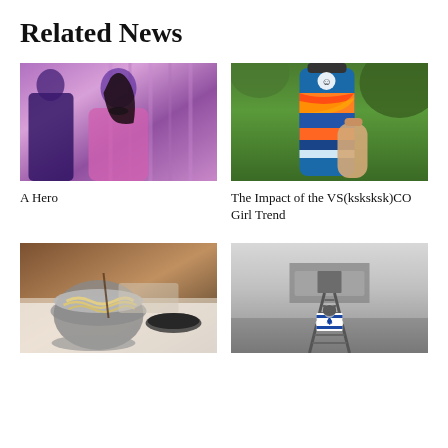Related News
[Figure (photo): Woman in pink dress at an event, purple/pink toned photo]
[Figure (photo): Colorful painted water bottle held in hand, orange blue red swirl design, outdoors]
A Hero
The Impact of the VS(ksksksk)CO Girl Trend
[Figure (photo): Bowl of noodles/food on a table at a restaurant setting]
[Figure (photo): Person wrapped in Israeli flag sitting on train tracks, black and white photo]